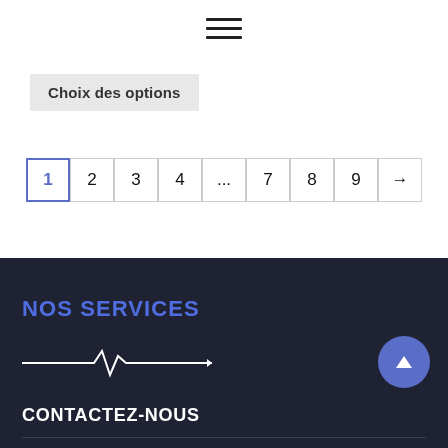[Figure (other): Hamburger menu icon with three horizontal lines]
Choix des options
[Figure (other): Pagination bar showing pages 1 (active), 2, 3, 4, ..., 7, 8, 9, and a next arrow]
NOS SERVICES
[Figure (other): Heartbeat / ECG decorative line icon in white]
[Figure (other): Scroll-to-top button: blue circle with white upward triangle]
CONTACTEZ-NOUS